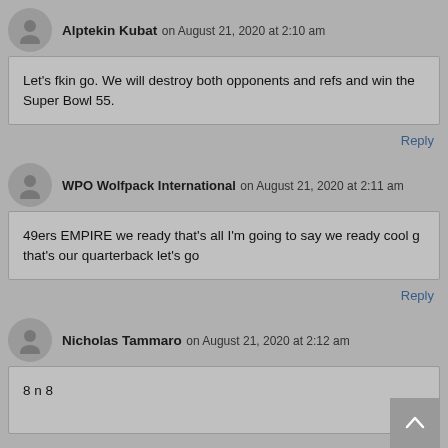Alptekin Kubat on August 21, 2020 at 2:10 am
Let's fkin go. We will destroy both opponents and refs and win the Super Bowl 55.
Reply
WPO Wolfpack International on August 21, 2020 at 2:11 am
49ers EMPIRE we ready that's all I'm going to say we ready cool g that's our quarterback let's go
Reply
Nicholas Tammaro on August 21, 2020 at 2:12 am
8 n 8